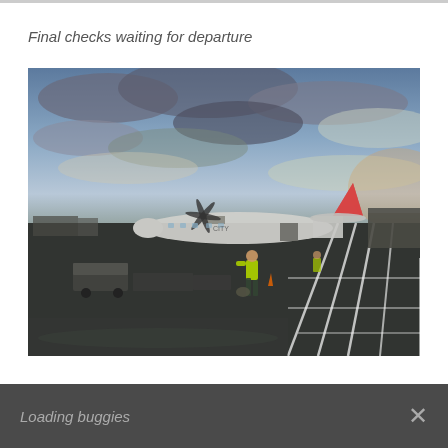Final checks waiting for departure
[Figure (photo): Airport tarmac scene at dusk/dawn with a turboprop aircraft (City Air livery) parked at the gate. A ground crew worker in a high-visibility yellow jacket is walking across the wet apron. Ground support vehicles and equipment are visible to the left. The right side shows painted lane markings on the wet tarmac. Dramatic cloudy sky in the background.]
Loading buggies